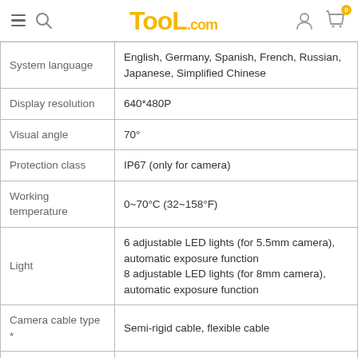TooL.com
| Specification | Value |
| --- | --- |
| System language | English, Germany, Spanish, French, Russian, Japanese, Simplified Chinese |
| Display resolution | 640*480P |
| Visual angle | 70° |
| Protection class | IP67 (only for camera) |
| Working temperature | 0~70°C (32~158°F) |
| Light | 6 adjustable LED lights (for 5.5mm camera), automatic exposure function
8 adjustable LED lights (for 8mm camera), automatic exposure function |
| Camera cable type * | Semi-rigid cable, flexible cable |
| Cable length * | 3m, 5m |